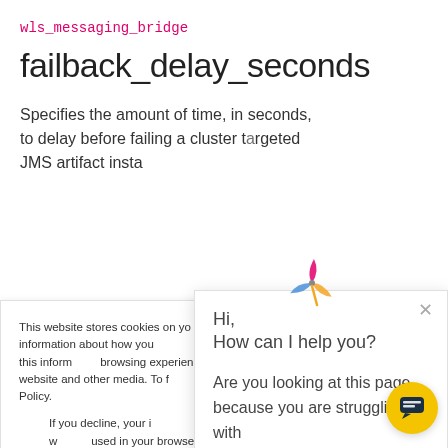wls_messaging_bridge
failback_delay_seconds
Specifies the amount of time, in seconds, to delay before failing a cluster targeted JMS artifact insta...
This website stores cookies on your computer to collect information about how you interact with our website, remember you. We use this information in order to improve your browsing experience and for analytics and metrics about our visitors on this website and other media. To find out more about our Privacy Policy.
If you decline, your information won't be tracked when you visit this website. A single cookie will be used in your browser to remember your preference not to be tracked.
Hi,
How can I help you?

Are you looking at this page because you are struggling with wlst scripts?